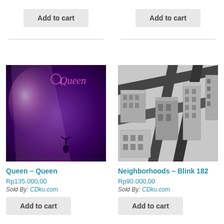Add to cart
Add to cart
[Figure (photo): Queen self-titled album cover with purple/magenta spotlight and silhouette of performer, Queen logo in pink text]
[Figure (illustration): Neighborhoods - Blink 182 album cover showing black and white isometric cityscape illustration]
Queen – Queen
Rp135.000,00
Sold By: CDku.com
Neighborhoods – Blink 182
Rp90.000,00
Sold By: CDku.com
Add to cart
Add to cart